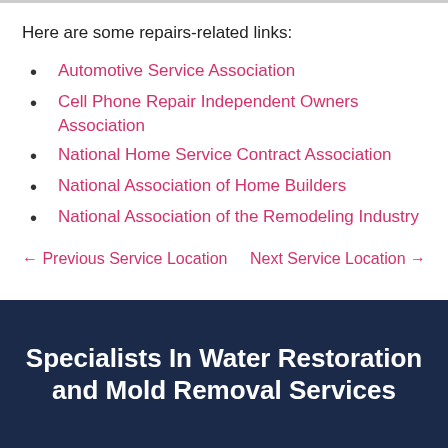Here are some repairs-related links:
Automotive Service Association
Cell Phone Repair Independent Owners Association
National Home Service Contract Association
National Association of Home Builders
National Association of the Remodeling Industry
← Previous Service Location
Next Service Location →
Specialists In Water Restoration and Mold Removal Services